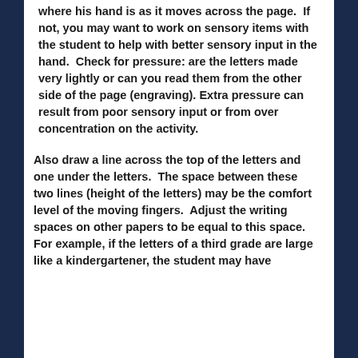where his hand is as it moves across the page.  If not, you may want to work on sensory items with the student to help with better sensory input in the hand.  Check for pressure: are the letters made very lightly or can you read them from the other side of the page (engraving). Extra pressure can result from poor sensory input or from over concentration on the activity.
Also draw a line across the top of the letters and one under the letters.  The space between these two lines (height of the letters) may be the comfort level of the moving fingers.  Adjust the writing spaces on other papers to be equal to this space. For example, if the letters of a third grade are large like a kindergartener, the student may have